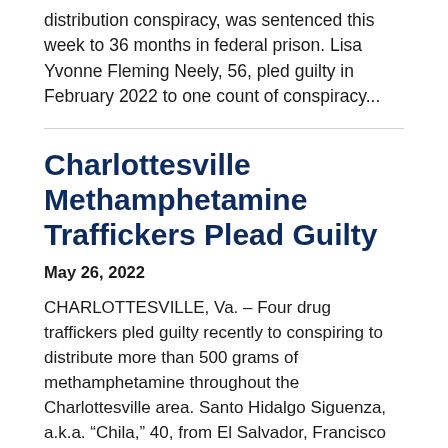distribution conspiracy, was sentenced this week to 36 months in federal prison. Lisa Yvonne Fleming Neely, 56, pled guilty in February 2022 to one count of conspiracy...
Charlottesville Methamphetamine Traffickers Plead Guilty
May 26, 2022
CHARLOTTESVILLE, Va. – Four drug traffickers pled guilty recently to conspiring to distribute more than 500 grams of methamphetamine throughout the Charlottesville area. Santo Hidalgo Siguenza, a.k.a. “Chila,” 40, from El Salvador, Francisco Rocha Uribe, 31, from Mexico, Rafael Vasquez Navarette, 26, from El Salvador, and Luis Guillermo Melendez-Henrique,